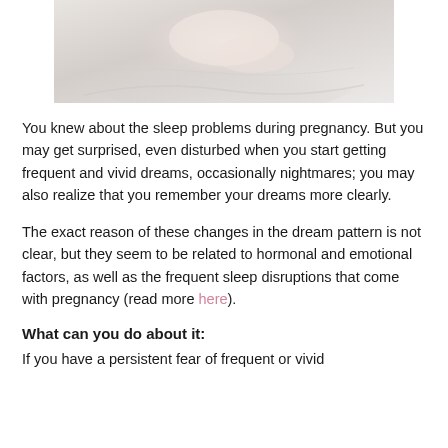[Figure (photo): Person lying in bed with white sheets, curled up, viewed from above — illustrating sleep during pregnancy]
You knew about the sleep problems during pregnancy. But you may get surprised, even disturbed when you start getting frequent and vivid dreams, occasionally nightmares; you may also realize that you remember your dreams more clearly.
The exact reason of these changes in the dream pattern is not clear, but they seem to be related to hormonal and emotional factors, as well as the frequent sleep disruptions that come with pregnancy (read more here).
What can you do about it:
If you have a persistent fear of frequent or vivid...